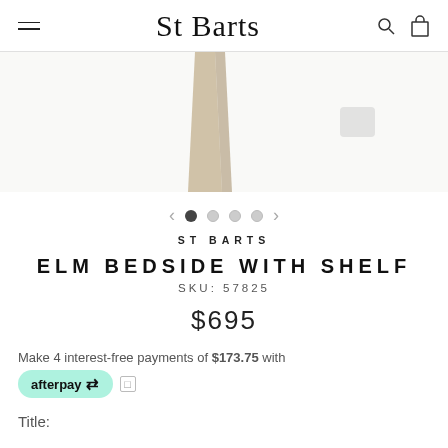ST Barts — navigation header with hamburger menu, logo, search and cart icons
[Figure (photo): Partial product photo showing wooden legs of an elm bedside table with shelf, on white background]
< ● ○ ○ ○ > carousel navigation dots
ST BARTS
ELM BEDSIDE WITH SHELF
SKU: 57825
$695
Make 4 interest-free payments of $173.75 with afterpay ℹ
Title: